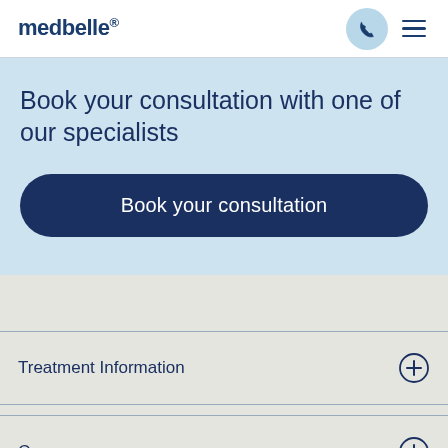medbelle®
Book your consultation with one of our specialists
Book your consultation
Treatment Information
Company